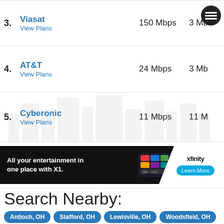| # | Provider | Speed | Upload |
| --- | --- | --- | --- |
| 3. | Viasat / View Plans | 150 Mbps | 3 Mb |
| 4. | AT&T / View Plans | 24 Mbps | 3 Mb |
| 5. | Cyberonic / View Plans | 11 Mbps | 11 M |
| 6. | EarthLink / View Plans | 75 Mbps | 3 Mb |
[Figure (infographic): Xfinity advertisement banner: 'All your entertainment in one place with X1.' with TV remote image, Xfinity logo, and Learn More button]
Search Nearby:
Antioch, OH
Stafford, OH
Lewisville, OH
Woodsfield, OH